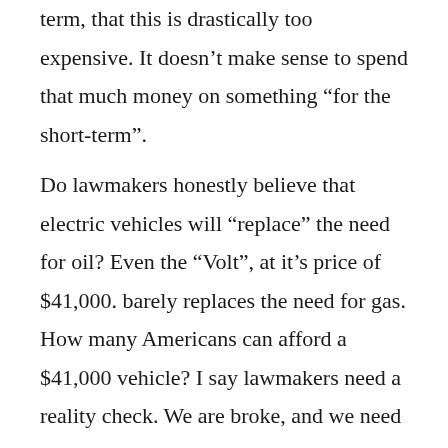term, that this is drastically too expensive. It doesn't make sense to spend that much money on something “for the short-term”. Do lawmakers honestly believe that electric vehicles will “replace” the need for oil? Even the “Volt”, at it’s price of $41,000. barely replaces the need for gas. How many Americans can afford a $41,000 vehicle? I say lawmakers need a reality check. We are broke, and we need to maximize our cheap natural resources like coal and gas, and make them cleaner. Do lawmakers really believe that we will “run out” of these resources? Is that true? Is the pursuit of wind energy a distorted dream of lawmakers that the wind can “replace” our need for